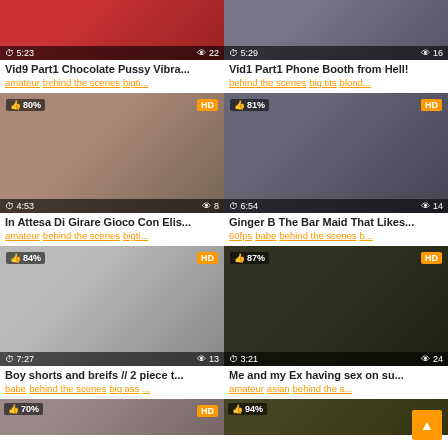[Figure (screenshot): Video thumbnail grid - adult content website listing]
Vid9 Part1 Chocolate Pussy Vibra...
amateur behind the scenes bigti...
Vid1 Part1 Phone Booth from Hell!
behind the scenes big tits blond...
In Attesa Di Girare Gioco Con Elis...
amateur behind the scenes bigti...
Ginger B The Bar Maid That Likes...
60fps babe behind the scenes b...
Boy shorts and breifs // 2 piece t...
babe behind the scenes big ass ...
Me and my Ex having sex on su...
amateur asian behind the s...